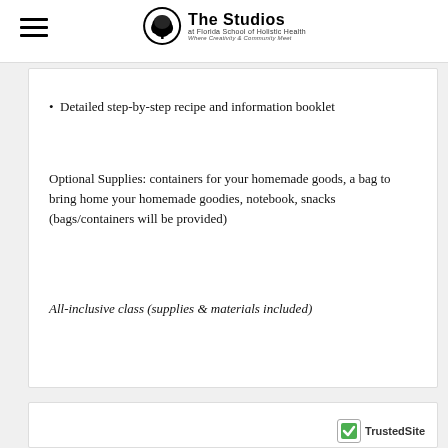The Studios at Florida School of Holistic Health — Where Creativity & Community Meet
Detailed step-by-step recipe and information booklet
Optional Supplies: containers for your homemade goods, a bag to bring home your homemade goodies, notebook, snacks (bags/containers will be provided)
All-inclusive class (supplies & materials included)